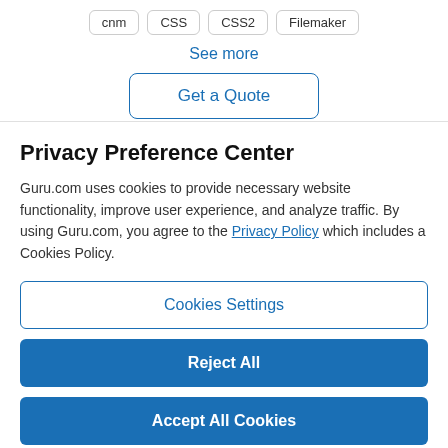cnm
CSS
CSS2
Filemaker
See more
Get a Quote
Privacy Preference Center
Guru.com uses cookies to provide necessary website functionality, improve user experience, and analyze traffic. By using Guru.com, you agree to the Privacy Policy which includes a Cookies Policy.
Cookies Settings
Reject All
Accept All Cookies